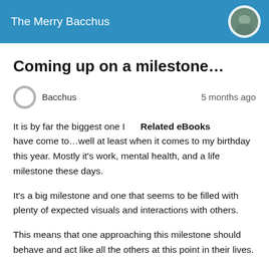The Merry Bacchus
Coming up on a milestone…
Bacchus   5 months ago
It is by far the biggest one I   Related eBooks   have come to…well at least when it comes to my birthday this year. Mostly it's work, mental health, and a life milestone these days.
It's a big milestone and one that seems to be filled with plenty of expected visuals and interactions with others.
This means that one approaching this milestone should behave and act like all the others at this point in their lives.